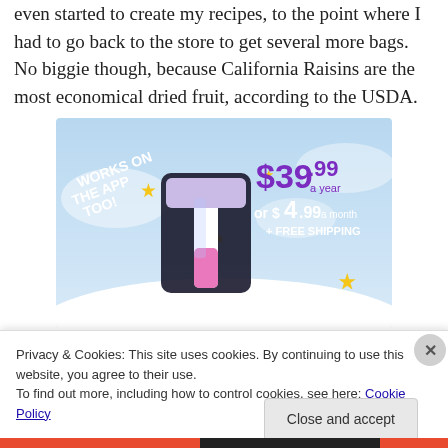even started to create my recipes, to the point where I had to go back to the store to get several more bags. No biggie though, because California Raisins are the most economical dried fruit, according to the USDA.
[Figure (screenshot): Tumblr ad showing the Tumblr 't' logo with sparkles on a light blue sky background. Text reads 'WORKS ON THE APP TOO!' and pricing '$39.99 a year or $4.99 a month + FREE SHIPPING'.]
Privacy & Cookies: This site uses cookies. By continuing to use this website, you agree to their use.
To find out more, including how to control cookies, see here: Cookie Policy